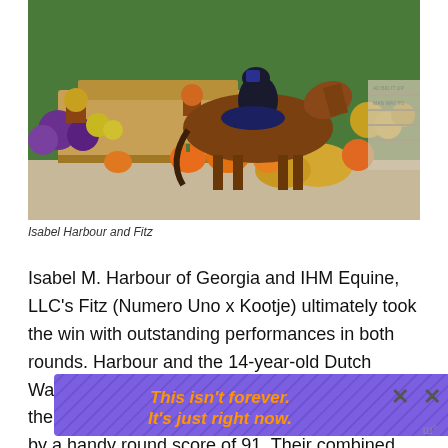[Figure (photo): A rider on a bay horse at a horse show, decorated with pumpkins, flowers, and fall decorations in the background. The rider is wearing a dark competition jacket and helmet.]
Isabel Harbour and Fitz
Isabel M. Harbour of Georgia and IHM Equine, LLC’s Fitz (Numero Uno x Kootje) ultimately took the win with outstanding performances in both rounds. Harbour and the 14-year-old Dutch Warmblood gelding took all four high options in the first round, earning a score of 94, followed by a handy round score of 91. Their combined score totaled 185 ca
[Figure (other): Advertisement overlay: purple background with diagonal lines and orange text reading 'This isn’t forever. It’s just right now.' with a close button X.]